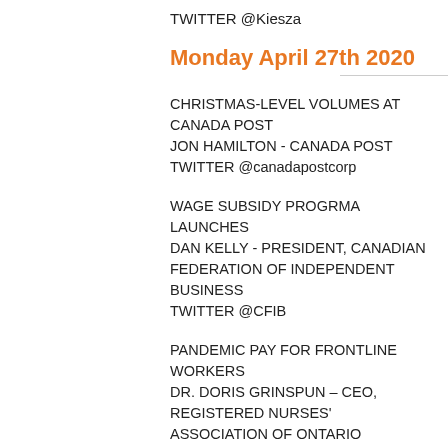TWITTER @Kiesza
Monday April 27th 2020
CHRISTMAS-LEVEL VOLUMES AT CANADA POST
JON HAMILTON - CANADA POST
TWITTER @canadapostcorp
WAGE SUBSIDY PROGRMA LAUNCHES
DAN KELLY - PRESIDENT, CANADIAN FEDERATION OF INDEPENDENT BUSINESS
TWITTER @CFIB
PANDEMIC PAY FOR FRONTLINE WORKERS
DR. DORIS GRINSPUN – CEO, REGISTERED NURSES' ASSOCIATION OF ONTARIO
TWITTER @RNAO
NO SCHOOL UNTIL JUNE?
DR. PAUL ROUMELIOTIS - MEDICAL